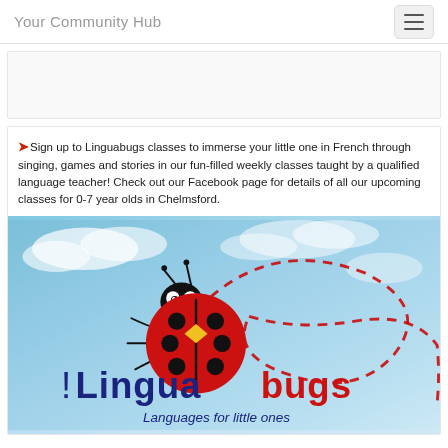Your Community Hub
Sign up to Linguabugs classes to immerse your little one in French through singing, games and stories in our fun-filled weekly classes taught by a qualified language teacher! Check out our Facebook page for details of all our upcoming classes for 0-7 year olds in Chelmsford.
[Figure (illustration): Linguabugs logo image showing a cartoon ladybug flying against a blue sky background with dashed flight path loops. Text reads 'Linguabugs' with blue and red lettering, and 'Languages for little ones' below.]